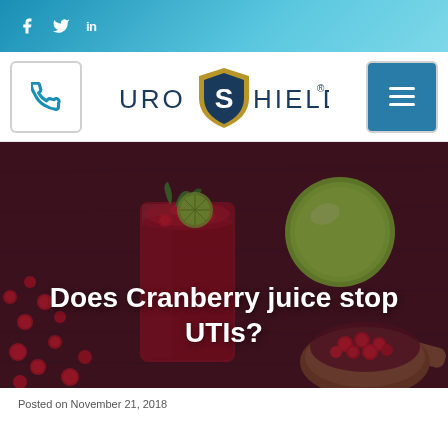Social media icons: Facebook, Twitter, LinkedIn
[Figure (logo): UroShield logo with phone and menu buttons in navigation bar]
[Figure (photo): Cranberry juice in a glass with cranberries, lime, and mint leaves, with a wooden spoon of cranberries in background on a dark wooden surface]
Does Cranberry juice stop UTIs?
Posted on November 21, 2018